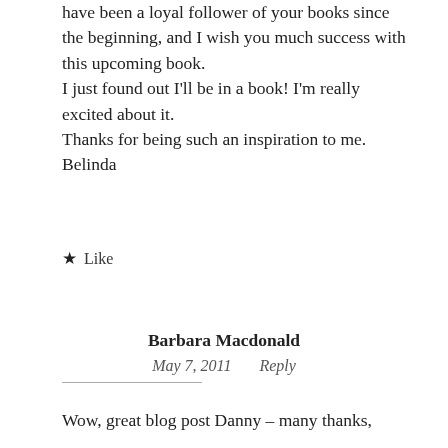have been a loyal follower of your books since the beginning, and I wish you much success with this upcoming book.
I just found out I'll be in a book! I'm really excited about it.
Thanks for being such an inspiration to me.
Belinda
★ Like
Barbara Macdonald
May 7, 2011   Reply
Wow, great blog post Danny – many thanks,